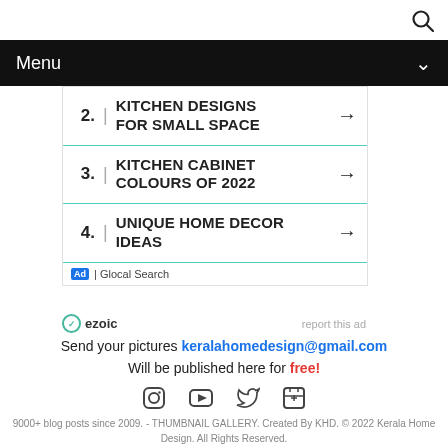[Figure (other): Search icon (magnifying glass) in top right corner]
Menu
[Figure (other): Advertisement box with numbered list items: 2. KITCHEN DESIGNS FOR SMALL SPACE, 3. KITCHEN CABINET COLOURS OF 2022, 4. UNIQUE HOME DECOR IDEAS. Ad by Glocal Search.]
ezoic   report this ad
Send your pictures keralahomedesign@gmail.com
Will be published here for free!
[Figure (other): Social media icons: Instagram, YouTube, Twitter, Facebook]
9000+ blog posts since 2009. - THUMBNAIL GALLERY. Created By KHD. © 2022 Kerala Home Design. All Rights Reserved.